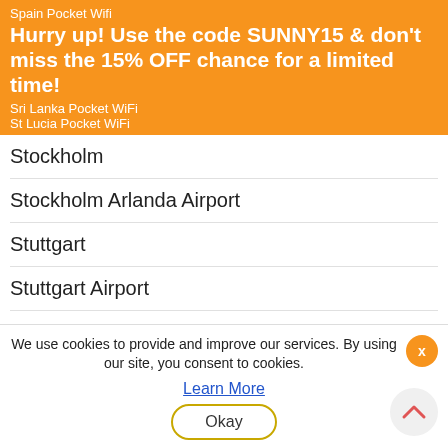Spain Pocket Wifi
Hurry up! Use the code SUNNY15 & don't miss the 15% OFF chance for a limited time!
Sri Lanka Pocket WiFi
St Lucia Pocket WiFi
Stockholm
Stockholm Arlanda Airport
Stuttgart
Stuttgart Airport
Sweden Pocket WiFi
Switzerland Pocket Wifi
Sydney
São Paulo
T
We use cookies to provide and improve our services. By using our site, you consent to cookies.
Learn More
Okay